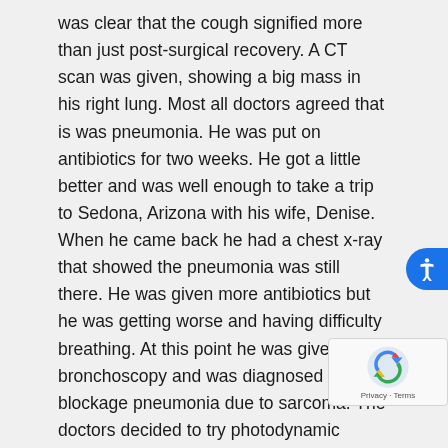was clear that the cough signified more than just post-surgical recovery. A CT scan was given, showing a big mass in his right lung. Most all doctors agreed that is was pneumonia. He was put on antibiotics for two weeks. He got a little better and was well enough to take a trip to Sedona, Arizona with his wife, Denise. When he came back he had a chest x-ray that showed the pneumonia was still there. He was given more antibiotics but he was getting worse and having difficulty breathing. At this point he was given a bronchoscopy and was diagnosed with blockage pneumonia due to sarcoma. The doctors decided to try photodynamic therapy, whereby a radioactive dye is injected into the body. For one month afterwards, the doctors asked that he stay out of the sun and wear protective clothing because of the risk of burning. After the procedure, Alex was kept in the hospital for two days because of a fever and breathing difficulty. Two days later, the surgeon went back in to c up the debris with another bronchoscopy. When he we for the second procedure, the surgeon discovered tha tumor was bigger than he could treat and that the